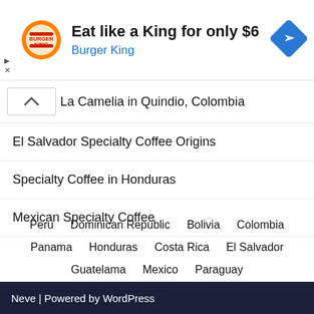[Figure (infographic): Burger King advertisement banner: BK logo, text 'Eat like a King for only $6', 'Burger King', and a blue navigation/directions icon on the right.]
... La Camelia in Quindio, Colombia
El Salvador Specialty Coffee Origins
Specialty Coffee in Honduras
Mexican Specialty Coffee
Peru  Dominican Republic  Bolivia  Colombia  Panama  Honduras  Costa Rica  El Salvador  Guatelama  Mexico  Paraguay
Neve | Powered by WordPress